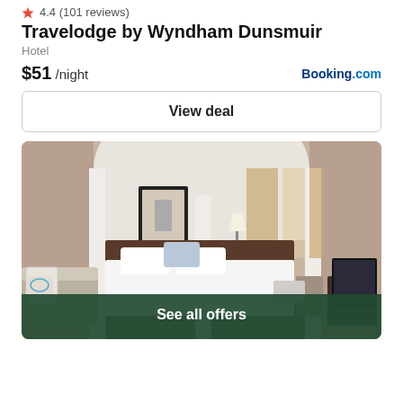4.4 (101 reviews)
Travelodge by Wyndham Dunsmuir
Hotel
$51 /night
Booking.com
View deal
[Figure (photo): Hotel room interior with large bed, white bedding, arched ceiling, neutral-toned walls, side lamp, curtains, TV, and a couch with decorative pillows including a blue deer motif pillow.]
See all offers